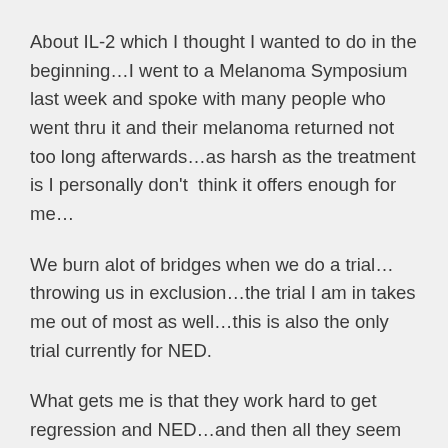About IL-2 which I thought I wanted to do in the beginning…I went to a Melanoma Symposium last week and spoke with many people who went thru it and their melanoma returned not too long afterwards…as harsh as the treatment is I personally don't  think it offers enough for me…
We burn alot of bridges when we do a trial…throwing us in exclusion…the trial I am in takes me out of most as well…this is also the only trial currently for NED.
What gets me is that they work hard to get regression and NED…and then all they seem to offer after they get you there is perhaps radiation and Leukine injections 14 days on and 14 days off forever!